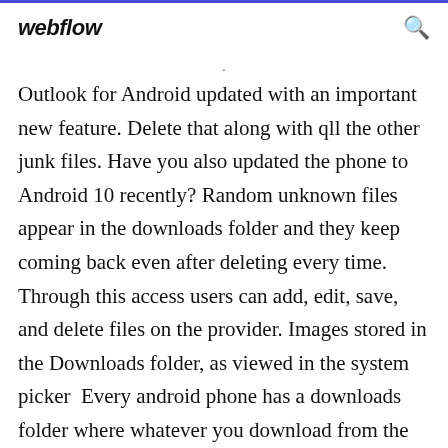webflow
Outlook for Android updated with an important new feature. Delete that along with qll the other junk files. Have you also updated the phone to Android 10 recently? Random unknown files appear in the downloads folder and they keep coming back even after deleting every time. Through this access users can add, edit, save, and delete files on the provider. Images stored in the Downloads folder, as viewed in the system picker  Every android phone has a downloads folder where whatever you download from the internet is stored. Downloads  17 Dec 2019 Store downloaded music if you listen offline (Premium only).